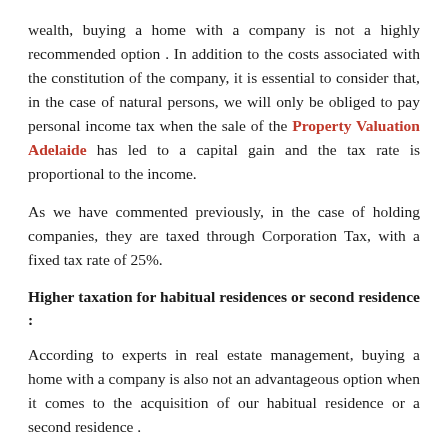wealth, buying a home with a company is not a highly recommended option . In addition to the costs associated with the constitution of the company, it is essential to consider that, in the case of natural persons, we will only be obliged to pay personal income tax when the sale of the Property Valuation Adelaide has led to a capital gain and the tax rate is proportional to the income.
As we have commented previously, in the case of holding companies, they are taxed through Corporation Tax, with a fixed tax rate of 25%.
Higher taxation for habitual residences or second residence :
According to experts in real estate management, buying a home with a company is also not an advantageous option when it comes to the acquisition of our habitual residence or a second residence .